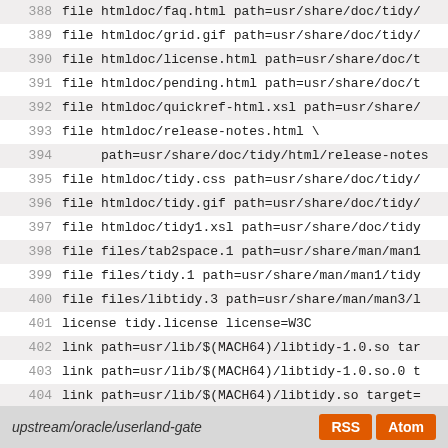388 file htmldoc/faq.html path=usr/share/doc/tidy/
389 file htmldoc/grid.gif path=usr/share/doc/tidy/
390 file htmldoc/license.html path=usr/share/doc/t
391 file htmldoc/pending.html path=usr/share/doc/t
392 file htmldoc/quickref-html.xsl path=usr/share/
393 file htmldoc/release-notes.html \
394     path=usr/share/doc/tidy/html/release-notes
395 file htmldoc/tidy.css path=usr/share/doc/tidy/
396 file htmldoc/tidy.gif path=usr/share/doc/tidy/
397 file htmldoc/tidy1.xsl path=usr/share/doc/tidy
398 file files/tab2space.1 path=usr/share/man/man1
399 file files/tidy.1 path=usr/share/man/man1/tidy
400 file files/libtidy.3 path=usr/share/man/man3/l
401 license tidy.license license=W3C
402 link path=usr/lib/$(MACH64)/libtidy-1.0.so tar
403 link path=usr/lib/$(MACH64)/libtidy-1.0.so.0 t
404 link path=usr/lib/$(MACH64)/libtidy.so target=
405 link path=usr/lib/libtidy-1.0.so target=libtic
406 link path=usr/lib/libtidy-1.0.so.0 target=libt
407 link path=usr/lib/libtidy.so target=libtidy-1.
upstream/oracle/userland-gate   RSS  Atom